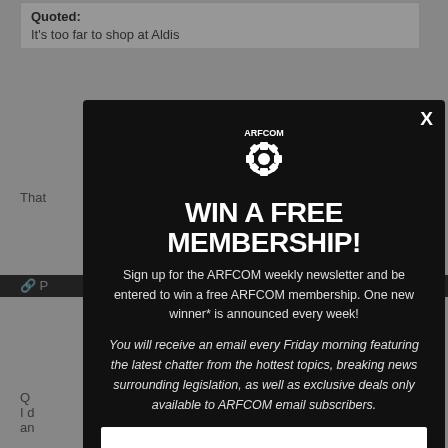Quoted:
It's too far to shop at Aldis
That
P
Q
I d
an
W
ca
A
[Figure (screenshot): ARFCOM modal popup with gear logo, title 'WIN A FREE MEMBERSHIP!', subscription signup text, and email input field on dark background]
WIN A FREE MEMBERSHIP!
Sign up for the ARFCOM weekly newsletter and be entered to win a free ARFCOM membership. One new winner* is announced every week!
You will receive an email every Friday morning featuring the latest chatter from the hottest topics, breaking news surrounding legislation, as well as exclusive deals only available to ARFCOM email subscribers.